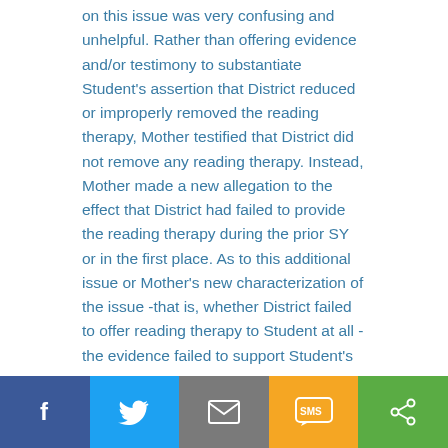on this issue was very confusing and unhelpful. Rather than offering evidence and/or testimony to substantiate Student's assertion that District reduced or improperly removed the reading therapy, Mother testified that District did not remove any reading therapy. Instead, Mother made a new allegation to the effect that District had failed to provide the reading therapy during the prior SY or in the first place. As to this additional issue or Mother's new characterization of the issue -that is, whether District failed to offer reading therapy to Student at all -the evidence failed to support Student's
Social share bar: Facebook, Twitter, Email, SMS, Share